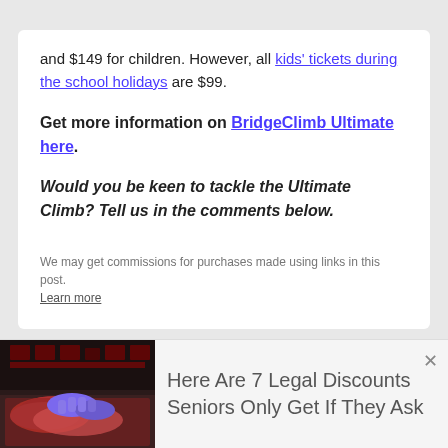and $149 for children. However, all kids' tickets during the school holidays are $99.
Get more information on BridgeClimb Ultimate here.
Would you be keen to tackle the Ultimate Climb? Tell us in the comments below.
We may get commissions for purchases made using links in this post. Learn more
[Figure (photo): Photo of a person in blue gloves handling raw meat at a butcher/deli counter, shown as part of an advertisement.]
Here Are 7 Legal Discounts Seniors Only Get If They Ask